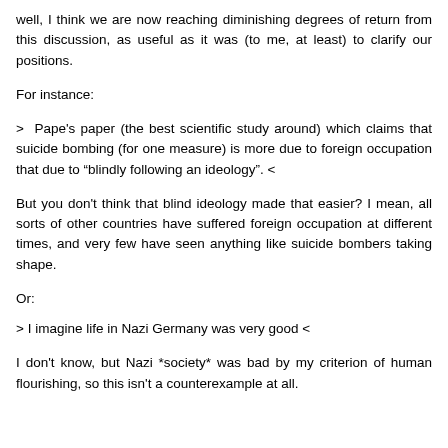well, I think we are now reaching diminishing degrees of return from this discussion, as useful as it was (to me, at least) to clarify our positions.
For instance:
> Pape's paper (the best scientific study around) which claims that suicide bombing (for one measure) is more due to foreign occupation that due to "blindly following an ideology". <
But you don't think that blind ideology made that easier? I mean, all sorts of other countries have suffered foreign occupation at different times, and very few have seen anything like suicide bombers taking shape.
Or:
> I imagine life in Nazi Germany was very good <
I don't know, but Nazi *society* was bad by my criterion of human flourishing, so this isn't a counterexample at all.